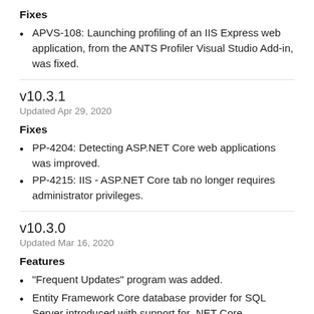Fixes
APVS-108: Launching profiling of an IIS Express web application, from the ANTS Profiler Visual Studio Add-in, was fixed.
v10.3.1
Updated Apr 29, 2020
Fixes
PP-4204: Detecting ASP.NET Core web applications was improved.
PP-4215: IIS - ASP.NET Core tab no longer requires administrator privileges.
v10.3.0
Updated Mar 16, 2020
Features
"Frequent Updates" program was added.
Entity Framework Core database provider for SQL Server introduced with support for .NET Core...